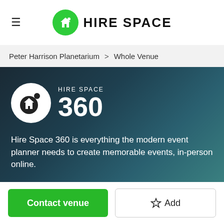HIRE SPACE
Peter Harrison Planetarium > Whole Venue
[Figure (logo): Hire Space 360 logo: white circle with house icon and dot, with text HIRE SPACE 360 in white on dark teal background]
Hire Space 360 is everything the modern event planner needs to create memorable events, in-person online.
Contact venue
☆ Add